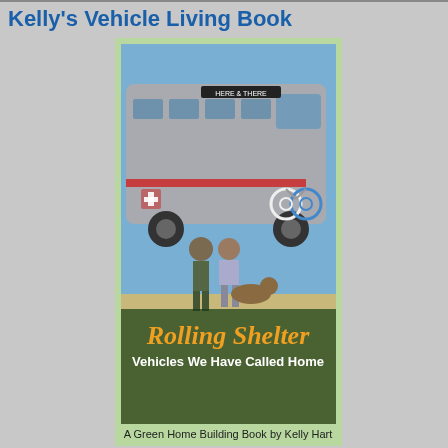Kelly's Vehicle Living Book
[Figure (photo): Book cover for 'Rolling Shelter: Vehicles We Have Called Home' by Kelly Hart. Shows two people and a dog standing in front of a converted bus with bicycles on the back. Green border with orange title text and white subtitle text.]
A Green Home Building Book by Kelly Hart
Kelly's Green Remodel Book
[Figure (photo): Book cover for 'Remodel Green' showing a green outdoor structure with hanging plants and lush vegetation. Orange and green title text on a light green background.]